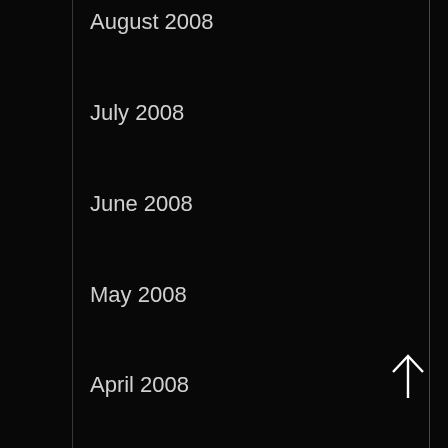August 2008
July 2008
June 2008
May 2008
April 2008
March 2008
February 2008
January 2008
December 2007
November 2007
October 2007
September 2007